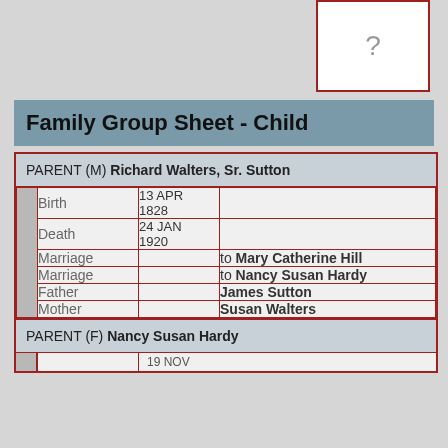[Figure (other): Empty box with question mark, top right corner]
Family Group Sheet - Child
|  | Field | Date | Value |
| --- | --- | --- | --- |
| PARENT (M) Richard Walters, Sr. Sutton |  |  |  |
|  | Birth | 13 APR 1828 |  |
|  | Death | 24 JAN 1920 |  |
|  | Marriage |  | to Mary Catherine Hill |
|  | Marriage |  | to Nancy Susan Hardy |
|  | Father |  | James Sutton |
|  | Mother |  | Susan Walters |
| PARENT (F) Nancy Susan Hardy |  |  |  |
|  | Birth | 19 NOV |  |